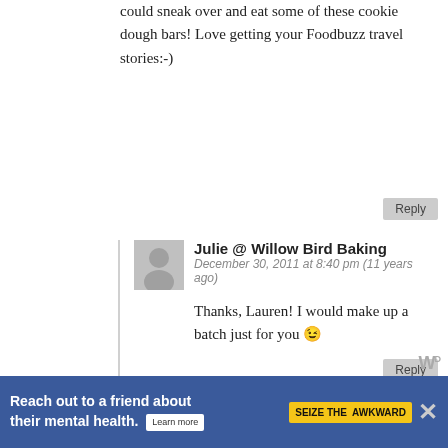could sneak over and eat some of these cookie dough bars! Love getting your Foodbuzz travel stories:-)
Julie @ Willow Bird Baking
December 30, 2011 at 8:40 pm (11 years ago)
Thanks, Lauren! I would make up a batch just for you 😉
Vanessa
December 30, 2011 at 1:30 pm (11 years ago)
Um these look lethal. Cookie dough, brown
[Figure (infographic): Ad banner: Reach out to a friend about their mental health. Learn more. SEIZE THE AWKWARD badge.]